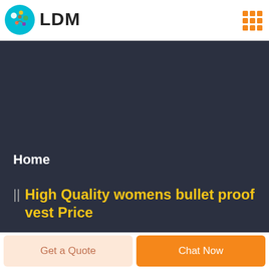LDM
[Figure (logo): LDM logo with colorful circular icon and LDM text]
Home
High Quality womens bullet proof vest Price
Get a Quote
Chat Now